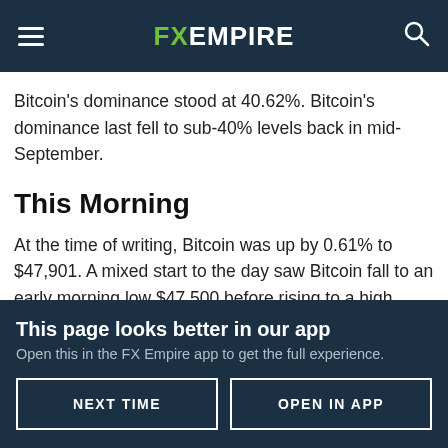FX EMPIRE
Bitcoin's dominance stood at 40.62%. Bitcoin's dominance last fell to sub-40% levels back in mid-September.
This Morning
At the time of writing, Bitcoin was up by 0.61% to $47,901. A mixed start to the day saw Bitcoin fall to an early morning low $47,500 before rising to a high $48,111.
Bitcoin left the major support and resistance levels untested
This page looks better in our app
Open this in the FX Empire app to get the full experience.